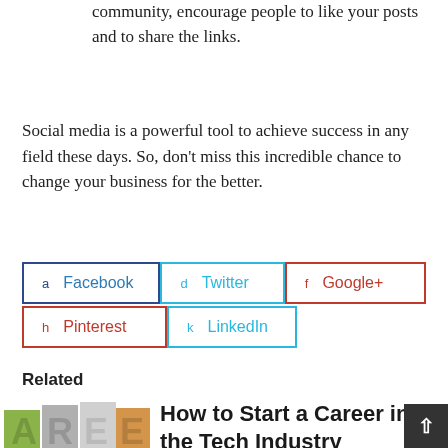community, encourage people to like your posts and to share the links.
Social media is a powerful tool to achieve success in any field these days. So, don't miss this incredible chance to change your business for the better.
[Figure (infographic): Social media share buttons: Facebook (navy border, blue text), Twitter (cyan border and text), Google+ (red border and text), Pinterest (red border and text), LinkedIn (cyan border and text)]
Related
[Figure (photo): Colorful 3D block letters spelling CAREER with green, gray, and orange colored cubes, partially cropped]
How to Start a Career in the Tech Industry